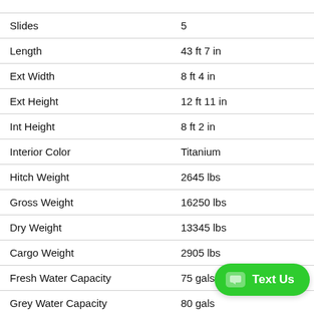| Specification | Value |
| --- | --- |
| Slides | 5 |
| Length | 43 ft 7 in |
| Ext Width | 8 ft 4 in |
| Ext Height | 12 ft 11 in |
| Int Height | 8 ft 2 in |
| Interior Color | Titanium |
| Hitch Weight | 2645 lbs |
| Gross Weight | 16250 lbs |
| Dry Weight | 13345 lbs |
| Cargo Weight | 2905 lbs |
| Fresh Water Capacity | 75 gals |
| Grey Water Capacity | 80 gals |
| Black Water Capacity | 80 [obscured] |
| Tire Size | ST2[obscured] |
| Number Of Beds | 3 [cut off] |